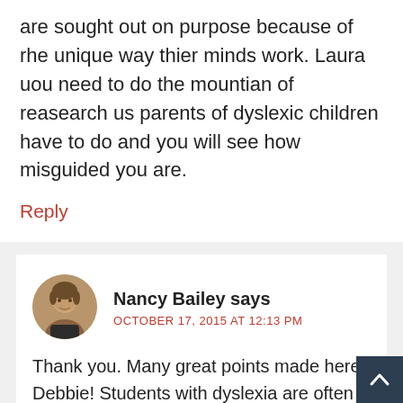are sought out on purpose because of rhe unique way thier minds work. Laura uou need to do the mountian of reasearch us parents of dyslexic children have to do and you will see how misguided you are.
Reply
Nancy Bailey says
OCTOBER 17, 2015 AT 12:13 PM
Thank you. Many great points made here, Debbie! Students with dyslexia are often twice